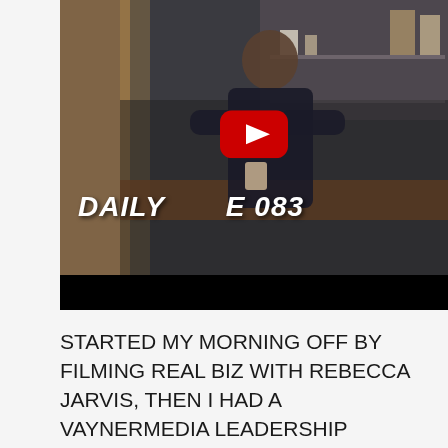[Figure (screenshot): YouTube video thumbnail showing a man sitting at a desk in a room with shelves. The video title 'DAILY VEE 083' is displayed in large italic white text. A YouTube play button (red rectangle with white triangle) is overlaid in the center.]
STARTED MY MORNING OFF BY FILMING REAL BIZ WITH REBECCA JARVIS, THEN I HAD A VAYNERMEDIA LEADERSHIP MEETING , AFTER THAT I HAD A MEETING WITH PENCILS OF